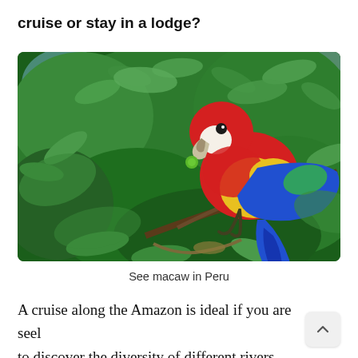cruise or stay in a lodge?
[Figure (photo): A scarlet macaw with vivid red, yellow, and blue plumage perched on a branch among dense green tropical leaves in Peru. A small green fruit is visible near the bird's beak.]
See macaw in Peru
A cruise along the Amazon is ideal if you are seel to discover the diversity of different rivers,